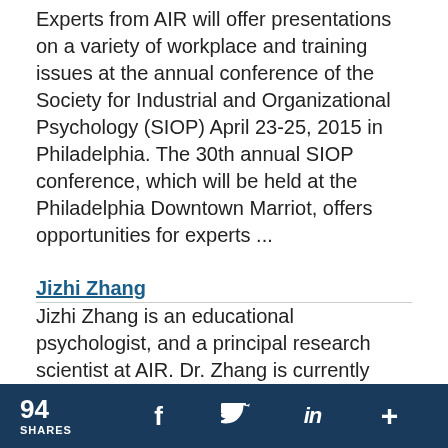Experts from AIR will offer presentations on a variety of workplace and training issues at the annual conference of the Society for Industrial and Organizational Psychology (SIOP) April 23-25, 2015 in Philadelphia. The 30th annual SIOP conference, which will be held at the Philadelphia Downtown Marriot, offers opportunities for experts ...
Jizhi Zhang
Jizhi Zhang is an educational psychologist, and a principal research scientist at AIR. Dr. Zhang is currently working on a National Assessment of Educational Progress (NAEP) research study on achievement gaps and previously she led a content research study to compare the 2011 Grade 8 NAEP and the
94 SHARES  f  [Twitter]  in  +